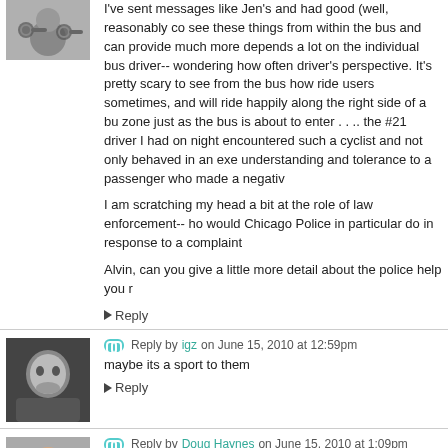I've sent messages like Jen's and had good (well, reasonably co see these things from within the bus and can provide much more depends a lot on the individual bus driver-- wondering how often driver's perspective. It's pretty scary to see from the bus how ride users sometimes, and will ride happily along the right side of a bu zone just as the bus is about to enter . . .. the #21 driver I had on night encountered such a cyclist and not only behaved in an exe understanding and tolerance to a passenger who made a negativ
I am scratching my head a bit at the role of law enforcement-- ho would Chicago Police in particular do in response to a complaint
Alvin, can you give a little more detail about the police help you r
Reply
Reply by igz on June 15, 2010 at 12:59pm
maybe its a sport to them
Reply
Reply by Doug Haynes on June 15, 2010 at 1:09pm
They do it because they are angry, frustrated morons.
Buses are, in my opinion, the biggest danger out on the road be